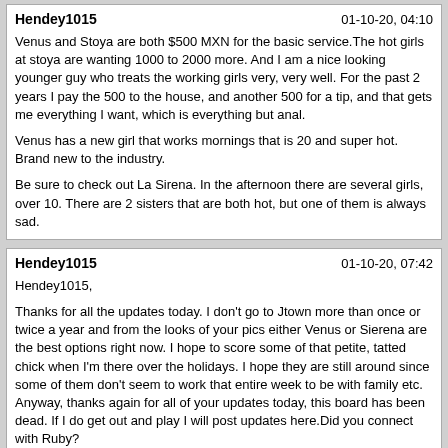Hendey1015 | 01-10-20, 04:10
Venus and Stoya are both $500 MXN for the basic service.The hot girls at stoya are wanting 1000 to 2000 more. And I am a nice looking younger guy who treats the working girls very, very well. For the past 2 years I pay the 500 to the house, and another 500 for a tip, and that gets me everything I want, which is everything but anal.

Venus has a new girl that works mornings that is 20 and super hot. Brand new to the industry.

Be sure to check out La Sirena. In the afternoon there are several girls, over 10. There are 2 sisters that are both hot, but one of them is always sad.
Hendey1015 | 01-10-20, 07:42
Hendey1015,

Thanks for all the updates today. I don't go to Jtown more than once or twice a year and from the looks of your pics either Venus or Sierena are the best options right now. I hope to score some of that petite, tatted chick when I'm there over the holidays. I hope they are still around since some of them don't seem to work that entire week to be with family etc. Anyway, thanks again for all of your updates today, this board has been dead. If I do get out and play I will post updates here.Did you connect with Ruby?
Hendey1015 | 01-10-20, 08:27
With the price of oil down I now live here full time!

Venus has a new girl who works in the morning, 19/20, insanely hot. I have not yet sampled. I was with Andrea today at my hotel. Short, but her body is perfect. She works out 3 hours a day. Not pretty, but what I like does not involve me looking at her face. Today she insisted on a condom for anal. Not